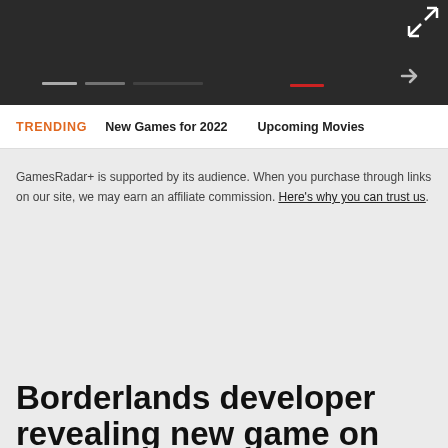Navigation bar with icons and indicators
TRENDING   New Games for 2022   Upcoming Movies
GamesRadar+ is supported by its audience. When you purchase through links on our site, we may earn an affiliate commission. Here's why you can trust us.
Borderlands developer revealing new game on Thursday